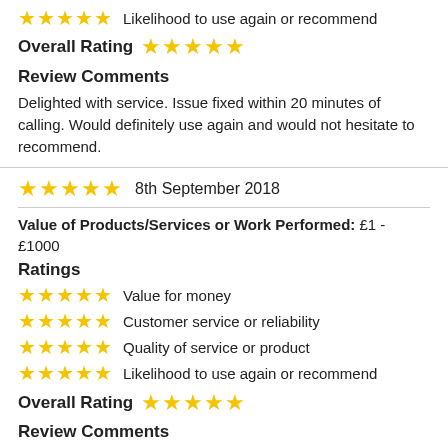★★★★★ Likelihood to use again or recommend
Overall Rating ★★★★★
Review Comments
Delighted with service. Issue fixed within 20 minutes of calling. Would definitely use again and would not hesitate to recommend.
★★★★★ 8th September 2018
Value of Products/Services or Work Performed: £1 - £1000
Ratings
★★★★★ Value for money
★★★★★ Customer service or reliability
★★★★★ Quality of service or product
★★★★★ Likelihood to use again or recommend
Overall Rating ★★★★★
Review Comments